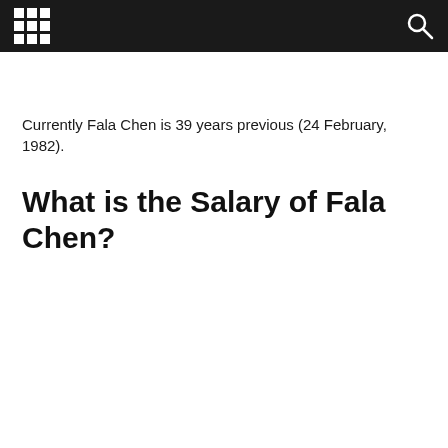[grid icon] [search icon]
Currently Fala Chen is 39 years previous (24 February, 1982).
What is the Salary of Fala Chen?